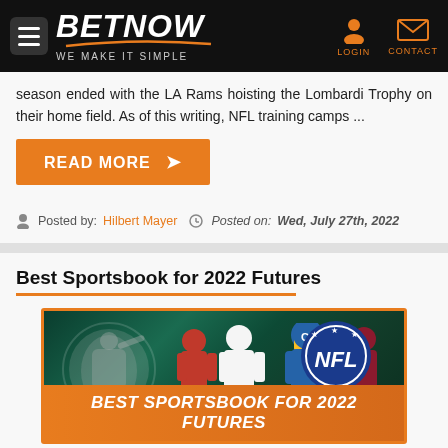BETNOW — WE MAKE IT SIMPLE
season ended with the LA Rams hoisting the Lombardi Trophy on their home field. As of this writing, NFL training camps ...
READ MORE ▶
Posted by: Hilbert Mayer  Posted on: Wed, July 27th, 2022
Best Sportsbook for 2022 Futures
[Figure (photo): Sports promotional banner showing MLB and NFL logos with athletes, text overlay reading BEST SPORTSBOOK FOR 2022 FUTURES]